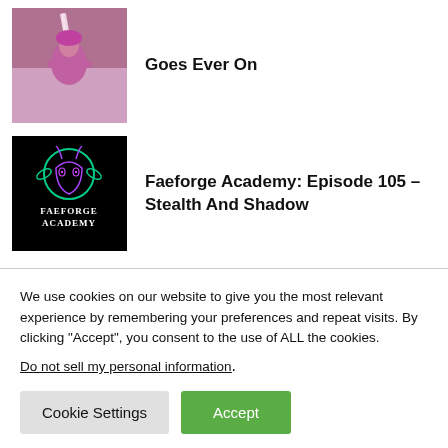Goes Ever On
[Figure (illustration): Comic-style illustration with a figure and pink/purple tones]
Faeforge Academy: Episode 105 – Stealth And Shadow
[Figure (logo): Faeforge Academy logo — dark background with stylized face outline and text]
Paizo And Savagesparrow Studios Partner To Create Goblin Chaos With 'Kit And Kaboomle: A Pathfinder
[Figure (illustration): Kit and Kaboomle Pathfinder book cover image, partially cropped]
We use cookies on our website to give you the most relevant experience by remembering your preferences and repeat visits. By clicking “Accept”, you consent to the use of ALL the cookies.
Do not sell my personal information.
Cookie Settings
Accept